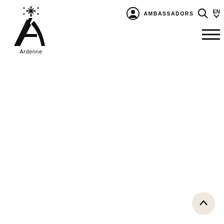[Figure (logo): Ardenne brand logo — stylized letter A with snowflake/star decorative elements above, text 'Ardenne' below]
AMBASSADORS  EN  [hamburger menu]